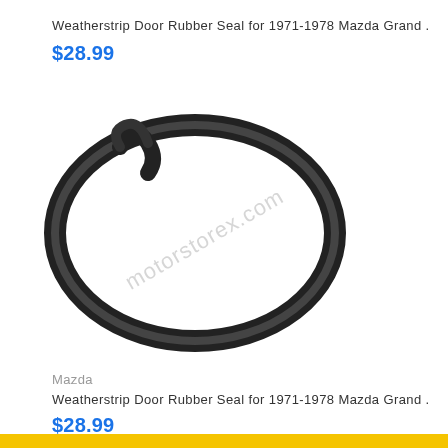Weatherstrip Door Rubber Seal for 1971-1978 Mazda Grand ...
$28.99
[Figure (photo): A black rubber weatherstrip door seal coiled in an oval/loop shape against a white background, with a diagonal watermark reading 'motorstorex.com']
Mazda
Weatherstrip Door Rubber Seal for 1971-1978 Mazda Grand ...
$28.99